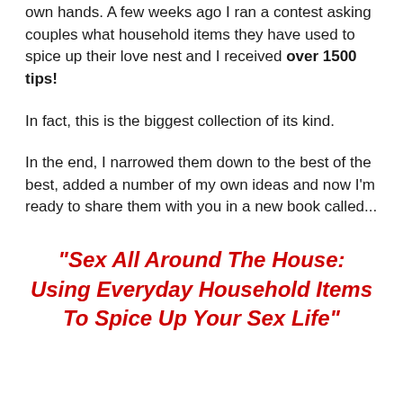own hands. A few weeks ago I ran a contest asking couples what household items they have used to spice up their love nest and I received over 1500 tips!
In fact, this is the biggest collection of its kind.
In the end, I narrowed them down to the best of the best, added a number of my own ideas and now I'm ready to share them with you in a new book called...
"Sex All Around The House: Using Everyday Household Items To Spice Up Your Sex Life"